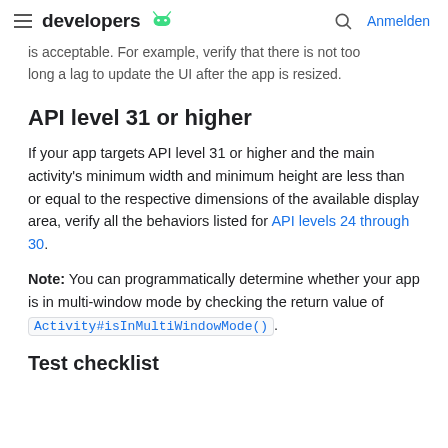developers [android logo] | [search icon] Anmelden
is acceptable. For example, verify that there is not too long a lag to update the UI after the app is resized.
API level 31 or higher
If your app targets API level 31 or higher and the main activity's minimum width and minimum height are less than or equal to the respective dimensions of the available display area, verify all the behaviors listed for API levels 24 through 30.
Note: You can programmatically determine whether your app is in multi-window mode by checking the return value of Activity#isInMultiWindowMode().
Test checklist